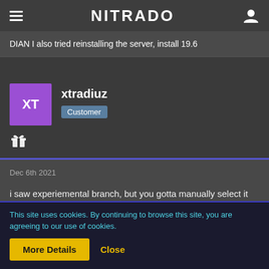NITRADO
DIAN I also tried reinstalling the server, install 19.6
xtradiuz
Customer
Dec 6th 2021
i saw experiemental branch, but you gotta manually select it from "Change Game" option and install it.
not sure if that's the A20 or not tho
This site uses cookies. By continuing to browse this site, you are agreeing to our use of cookies.